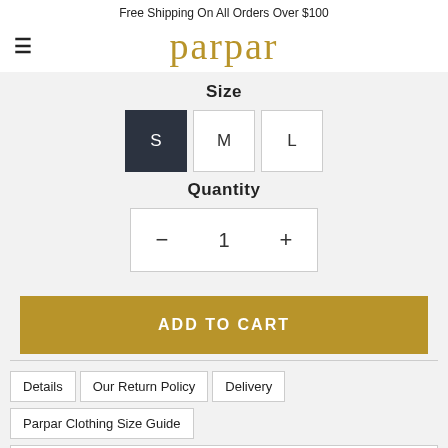Free Shipping On All Orders Over $100
parpar
Size
S  M  L
Quantity
- 1 +
ADD TO CART
Details  Our Return Policy  Delivery
Parpar Clothing Size Guide
IVORY DIVINE